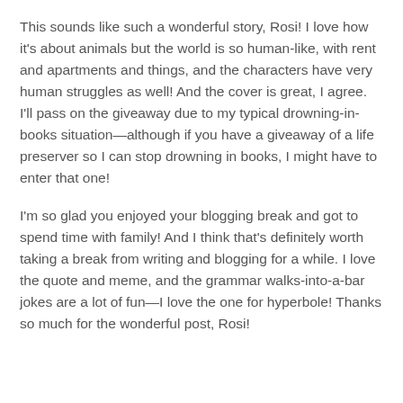This sounds like such a wonderful story, Rosi! I love how it's about animals but the world is so human-like, with rent and apartments and things, and the characters have very human struggles as well! And the cover is great, I agree. I'll pass on the giveaway due to my typical drowning-in-books situation—although if you have a giveaway of a life preserver so I can stop drowning in books, I might have to enter that one!
I'm so glad you enjoyed your blogging break and got to spend time with family! And I think that's definitely worth taking a break from writing and blogging for a while. I love the quote and meme, and the grammar walks-into-a-bar jokes are a lot of fun—I love the one for hyperbole! Thanks so much for the wonderful post, Rosi!